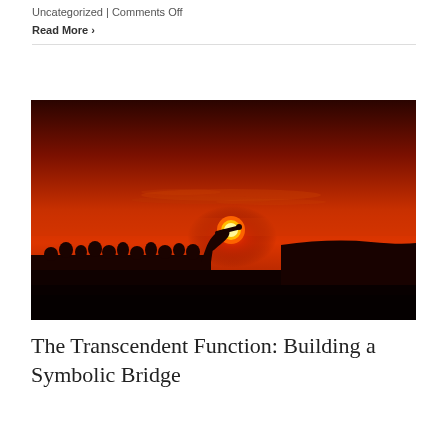Uncategorized | Comments Off
Read More >
[Figure (photo): Silhouette of a person crouching on a ledge or wall, reaching toward the setting sun on the horizon, with a crowd of people silhouetted in the background against a deep red-orange sunset sky.]
The Transcendent Function: Building a Symbolic Bridge